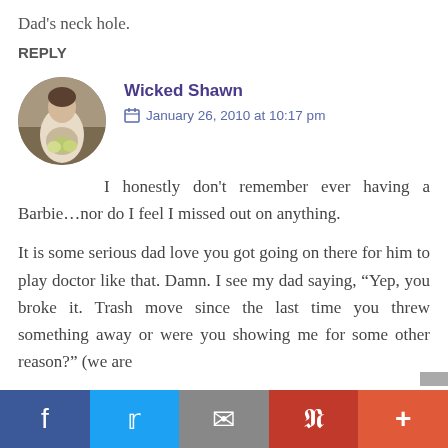Dad's neck hole.
REPLY
[Figure (photo): Circular avatar photo of a person in a field holding flowers, wearing a white garment.]
Wicked Shawn
January 26, 2010 at 10:17 pm
I honestly don't remember ever having a Barbie…nor do I feel I missed out on anything.
It is some serious dad love you got going on there for him to play doctor like that. Damn. I see my dad saying, “Yep, you broke it. Trash move since the last time you threw something away or were you showing me for some other reason?” (we are